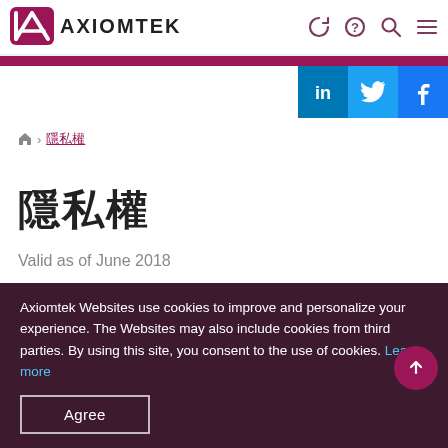AXIOMTEK
隱私權
隱私權
Valid as of June 2018
About This Privacy Policy
Axiomtek Websites use cookies to improve and personalize your experience. The Websites may also include cookies from third parties. By using this site, you consent to the use of cookies. Learn more
Agree